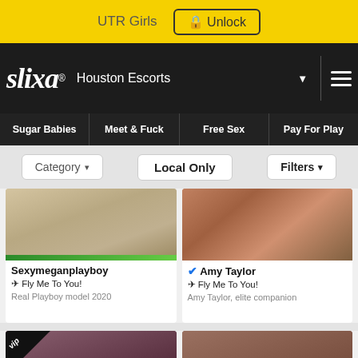UTR Girls   🔒 Unlock
slixa® Houston Escorts
Sugar Babies   Meet & Fuck   Free Sex   Pay For Play
Category ▾   Local Only   Filters ▾
[Figure (photo): Partial photo of escort listing for Sexymeganplayboy with green bar overlay]
Sexymeganplayboy
✈ Fly Me To You!
Real Playboy model 2020
[Figure (photo): Partial photo of escort listing for Amy Taylor]
✅ Amy Taylor
✈ Fly Me To You!
Amy Taylor, elite companion
[Figure (photo): VIP escort listing photo, woman with phone, dark maroon background]
[Figure (photo): Escort listing photo, woman on bed]